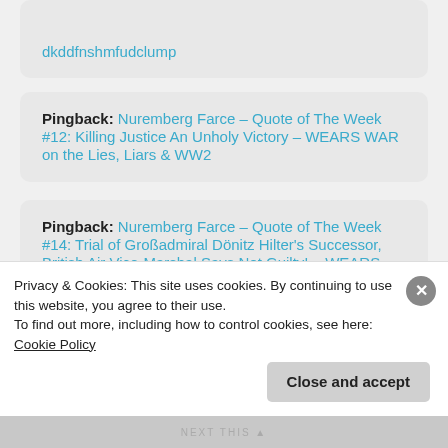Pingback: Nuremberg Farce – Quote of The Week #12: Killing Justice An Unholy Victory – WEARS WAR on the Lies, Liars & WW2
Pingback: Nuremberg Farce – Quote of The Week #14: Trial of Großadmiral Dönitz Hilter's Successor, British Air Vice-Marshal Says Not Guilty! – WEARS WAR on the Lies, Liars & WW2
Privacy & Cookies: This site uses cookies. By continuing to use this website, you agree to their use.
To find out more, including how to control cookies, see here: Cookie Policy
Close and accept